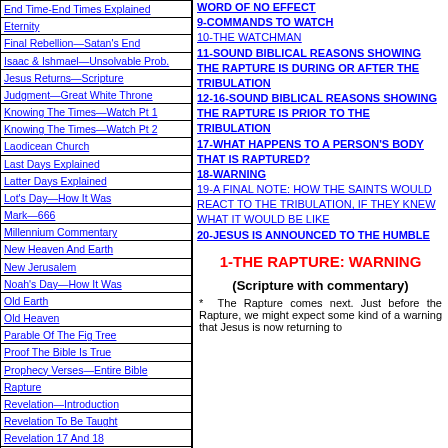End Time-End Times Explained
Eternity
Final Rebellion—Satan's End
Isaac & Ishmael—Unsolvable Prob.
Jesus Returns—Scripture
Judgment—Great White Throne
Knowing The Times—Watch Pt 1
Knowing The Times—Watch Pt 2
Laodicean Church
Last Days Explained
Latter Days Explained
Lot's Day—How It Was
Mark—666
Millennium Commentary
New Heaven And Earth
New Jerusalem
Noah's Day—How It Was
Old Earth
Old Heaven
Parable Of The Fig Tree
Proof The Bible Is True
Prophecy Verses—Entire Bible
Rapture
Revelation—Introduction
Revelation To Be Taught
Revelation 17 And 18
Revelation 19-22 Pt 1
Revelation 19-22 Pt 2
Revelation 19-22 Pt 3
WORD OF NO EFFECT
9-COMMANDS TO WATCH
10-THE WATCHMAN
11-SOUND BIBLICAL REASONS SHOWING THE RAPTURE IS DURING OR AFTER THE TRIBULATION
12-16-SOUND BIBLICAL REASONS SHOWING THE RAPTURE IS PRIOR TO THE TRIBULATION
17-WHAT HAPPENS TO A PERSON'S BODY THAT IS RAPTURED?
18-WARNING
19-A FINAL NOTE: HOW THE SAINTS WOULD REACT TO THE TRIBULATION, IF THEY KNEW WHAT IT WOULD BE LIKE
20-JESUS IS ANNOUNCED TO THE HUMBLE
1-THE RAPTURE: WARNING
(Scripture with commentary)
*  The Rapture comes next. Just before the Rapture, we might expect some kind of a warning that Jesus is now returning to